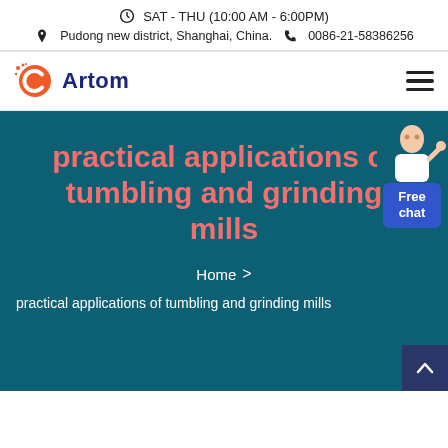SAT - THU (10:00 AM - 6:00PM) | Pudong new district, Shanghai, China. | 0086-21-58386256
[Figure (logo): Artom company logo with orange C icon and blue Artom text]
practical applications of tumbling and grinding mills
Home > practical applications of tumbling and grinding mills